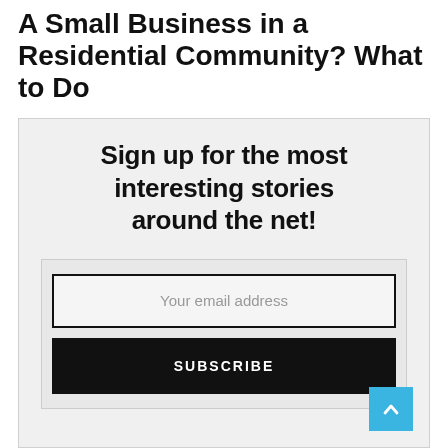A Small Business in a Residential Community? What to Do
Myrna Reichert | August 26, 2022
[Figure (infographic): Newsletter signup widget with heading 'Sign up for the most interesting stories around the net!', an email address input field, and a SUBSCRIBE button. A scroll-to-top button (chevron up) appears in the bottom right corner.]